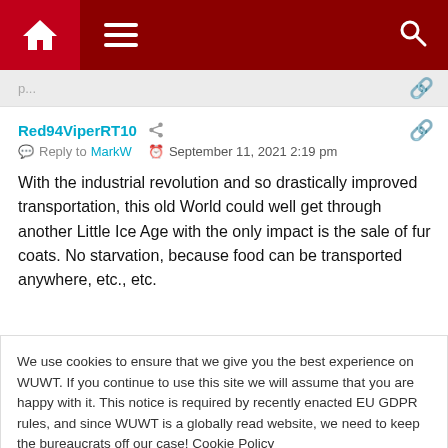Navigation bar with home, menu, and search icons
Red94ViperRT10  Reply to MarkW  September 11, 2021 2:19 pm
With the industrial revolution and so drastically improved transportation, this old World could well get through another Little Ice Age with the only impact is the sale of fur coats. No starvation, because food can be transported anywhere, etc., etc.
We use cookies to ensure that we give you the best experience on WUWT. If you continue to use this site we will assume that you are happy with it. This notice is required by recently enacted EU GDPR rules, and since WUWT is a globally read website, we need to keep the bureaucrats off our case! Cookie Policy
the-ground, money-where-your-mouth-is argument.